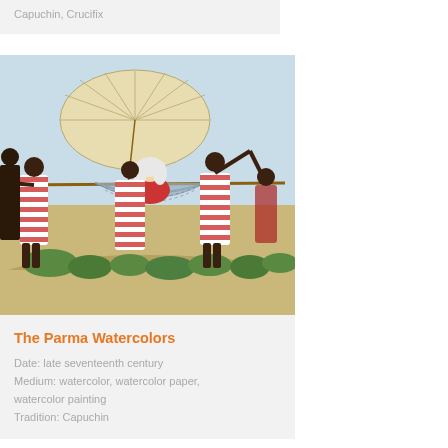Capuchin, Crucifix
[Figure (illustration): Historical watercolor painting depicting several figures in red and white striped robes carrying a person in a hammock suspended from a pole, with a large parasol overhead, set in an outdoor scene with green foliage in the background. Late seventeenth century Capuchin watercolor.]
The Parma Watercolors
Date: late seventeenth century
Medium: watercolor, watercolor paper, watercolor painting
Tradition: Capuchin